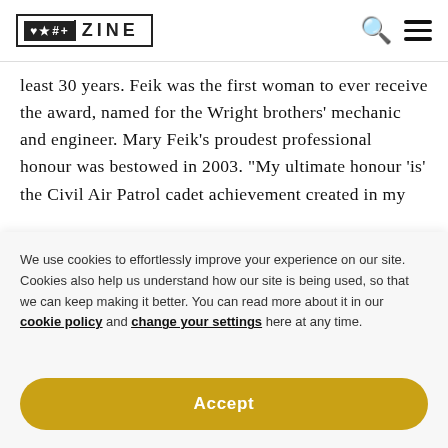♥★#+ZINE
least 30 years. Feik was the first woman to ever receive the award, named for the Wright brothers' mechanic and engineer. Mary Feik's proudest professional honour was bestowed in 2003. “My ultimate honour 'is' the Civil Air Patrol cadet achievement created in my
We use cookies to effortlessly improve your experience on our site. Cookies also help us understand how our site is being used, so that we can keep making it better. You can read more about it in our cookie policy and change your settings here at any time.
Accept